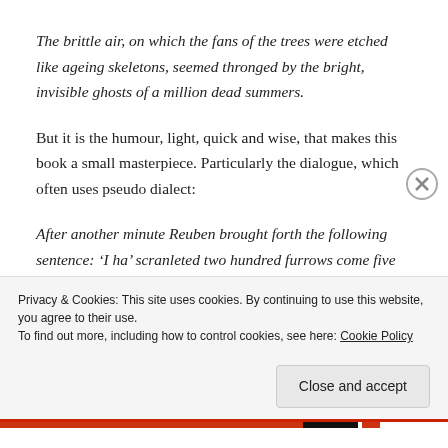The brittle air, on which the fans of the trees were etched like ageing skeletons, seemed thronged by the bright, invisible ghosts of a million dead summers.
But it is the humour, light, quick and wise, that makes this book a small masterpiece. Particularly the dialogue, which often uses pseudo dialect:
After another minute Reuben brought forth the following sentence: ‘I ha’ scranleted two hundred furrows come five o’clock down i’ the bute.’
Privacy & Cookies: This site uses cookies. By continuing to use this website, you agree to their use.
To find out more, including how to control cookies, see here: Cookie Policy
Close and accept